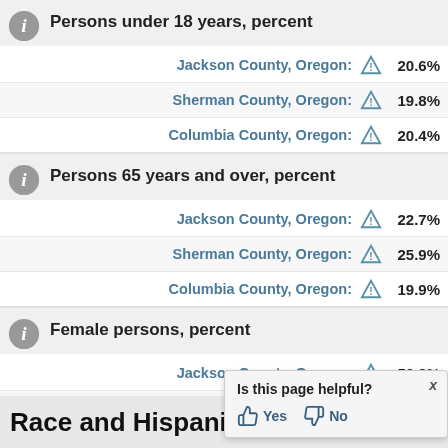Persons under 18 years, percent
Jackson County, Oregon: 20.6%
Sherman County, Oregon: 19.8%
Columbia County, Oregon: 20.4%
Persons 65 years and over, percent
Jackson County, Oregon: 22.7%
Sherman County, Oregon: 25.9%
Columbia County, Oregon: 19.9%
Female persons, percent
Jackson County, Oregon: 50.8%
Sherman County, Oregon: 48.3%
Columbia County, Oregon: 49.7%
Race and Hispanic Origin